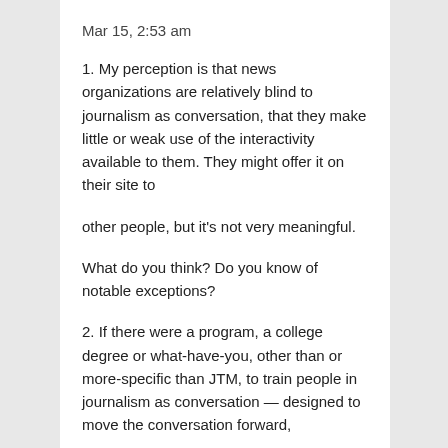Mar 15, 2:53 am
1. My perception is that news organizations are relatively blind to journalism as conversation, that they make little or weak use of the interactivity available to them. They might offer it on their site to
other people, but it’s not very meaningful.
What do you think? Do you know of notable exceptions?
2. If there were a program, a college degree or what-have-you, other than or more-specific than JTM, to train people in journalism as conversation — designed to move the conversation forward,